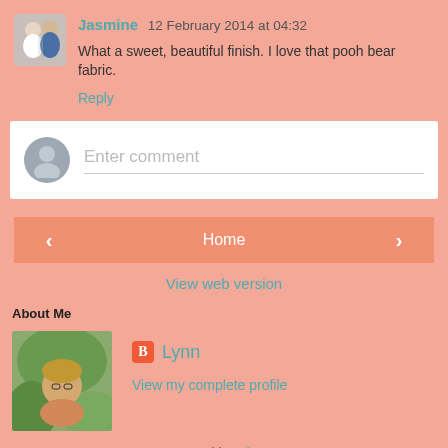Jasmine 12 February 2014 at 04:32
What a sweet, beautiful finish. I love that pooh bear fabric.
Reply
[Figure (other): Comment input box with user silhouette avatar and placeholder text 'Enter comment']
Home (navigation buttons with left and right arrows)
View web version
About Me
Lynn
View my complete profile
Powered by Blogger.